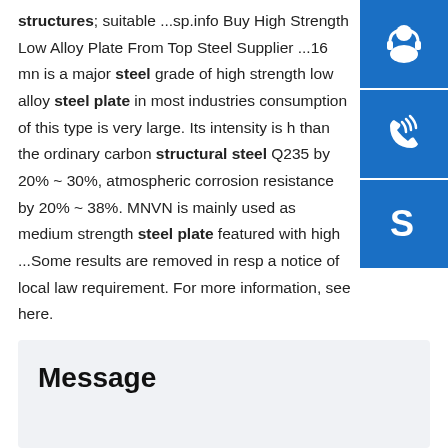structures; suitable ...sp.info Buy High Strength Low Alloy Plate From Top Steel Supplier ...16 mn is a major steel grade of high strength low alloy steel plate in most industries consumption of this type is very large. Its intensity is higher than the ordinary carbon structural steel Q235 by 20% ~ 30%, atmospheric corrosion resistance by 20% ~ 38%. MNVN is mainly used as medium strength steel plate featured with high ...Some results are removed in response to a notice of local law requirement. For more information, see here.
[Figure (illustration): Three blue square buttons on the right side: customer service headset icon, phone/call icon, Skype icon]
Message